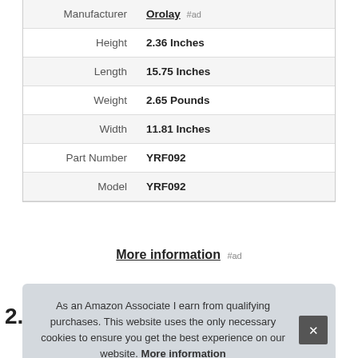| Attribute | Value |
| --- | --- |
| Manufacturer | Orolay #ad |
| Height | 2.36 Inches |
| Length | 15.75 Inches |
| Weight | 2.65 Pounds |
| Width | 11.81 Inches |
| Part Number | YRF092 |
| Model | YRF092 |
More information #ad
As an Amazon Associate I earn from qualifying purchases. This website uses the only necessary cookies to ensure you get the best experience on our website. More information
2.